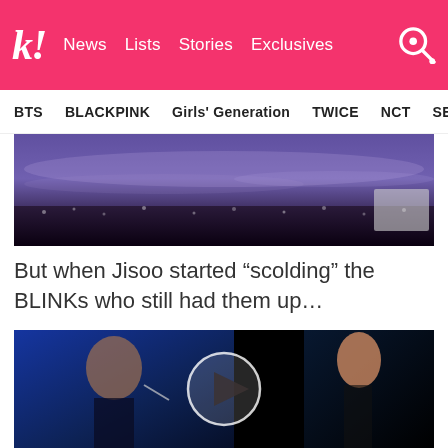k! News Lists Stories Exclusives
BTS BLACKPINK Girls' Generation TWICE NCT SEVE
[Figure (photo): Concert scene with crowd and stage lighting, purple/dark tones]
But when Jisoo started “scolding” the BLINKs who still had them up…
[Figure (screenshot): Video player showing BLACKPINK Jisoo on stage with play button overlay]